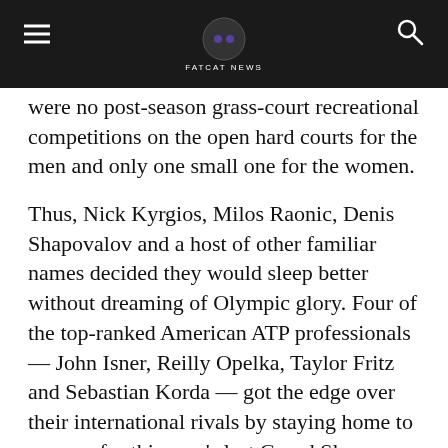FATCAT NEWS
were no post-season grass-court recreational competitions on the open hard courts for the men and only one small one for the women.
Thus, Nick Kyrgios, Milos Raonic, Denis Shapovalov and a host of other familiar names decided they would sleep better without dreaming of Olympic glory. Four of the top-ranked American ATP professionals — John Isner, Reilly Opelka, Taylor Fritz and Sebastian Korda — got the edge over their international rivals by staying home to prepare for this year's last Grand Slam tournament on American hard court.
The most glaring exception among the waivers: Novak Djokovic